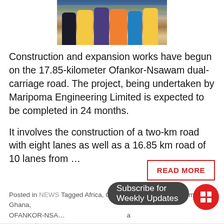[Figure (photo): Group of people in construction vests and hard hats at a road project site, partially cropped at top of page]
Construction and expansion works have begun on the 17.85-kilometer Ofankor-Nsawam dual-carriage road. The project, being undertaken by Maripoma Engineering Limited is expected to be completed in 24 months.
It involves the construction of a two-km road with eight lanes as well as a 16.85 km road of 10 lanes from …
READ MORE
Posted in NEWS Tagged Africa, CONSTRUCTION, Development, Ghana, OFANKOR-NSA… a comment